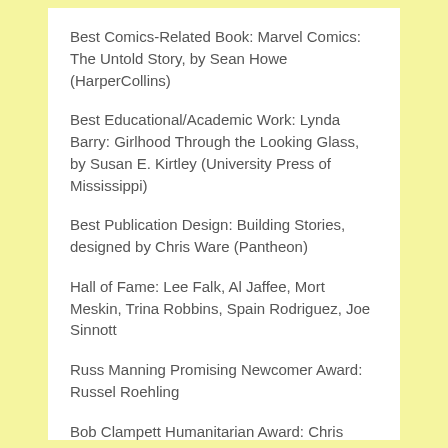Best Comics-Related Book: Marvel Comics: The Untold Story, by Sean Howe (HarperCollins)
Best Educational/Academic Work: Lynda Barry: Girlhood Through the Looking Glass, by Susan E. Kirtley (University Press of Mississippi)
Best Publication Design: Building Stories, designed by Chris Ware (Pantheon)
Hall of Fame: Lee Falk, Al Jaffee, Mort Meskin, Trina Robbins, Spain Rodriguez, Joe Sinnott
Russ Manning Promising Newcomer Award: Russel Roehling
Bob Clampett Humanitarian Award: Chris Sparks and Team Cul deSac
Bill Finger Excellence in Comic Book Writing Award: Steve Gerber, Don Rosa